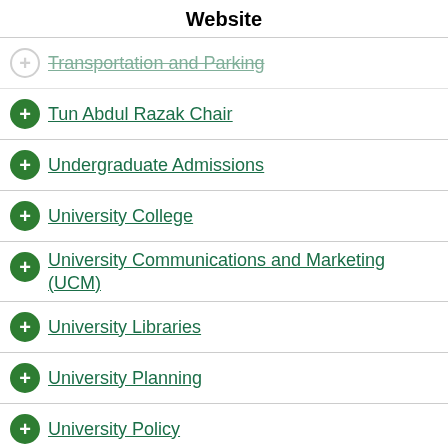Website
Transportation and Parking
Tun Abdul Razak Chair
Undergraduate Admissions
University College
University Communications and Marketing (UCM)
University Libraries
University Planning
University Policy
University Standing Committees